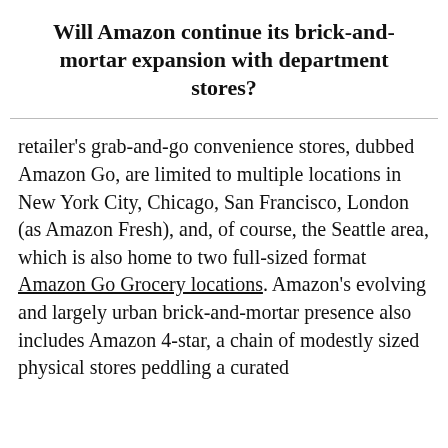Will Amazon continue its brick-and-mortar expansion with department stores?
retailer's grab-and-go convenience stores, dubbed Amazon Go, are limited to multiple locations in New York City, Chicago, San Francisco, London (as Amazon Fresh), and, of course, the Seattle area, which is also home to two full-sized format Amazon Go Grocery locations. Amazon's evolving and largely urban brick-and-mortar presence also includes Amazon 4-star, a chain of modestly sized physical stores peddling a curated